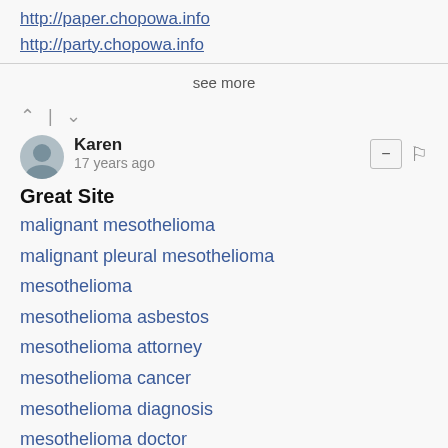http://paper.chopowa.info
http://party.chopowa.info
see more
^ | v
Karen
17 years ago
Great Site
malignant mesothelioma
malignant pleural mesothelioma
mesothelioma
mesothelioma asbestos
mesothelioma attorney
mesothelioma cancer
mesothelioma diagnosis
mesothelioma doctor
mesothelioma information
mesothelioma lawsuits
mesothelioma lawyer
mesothelioma lawyers
mesothelioma research